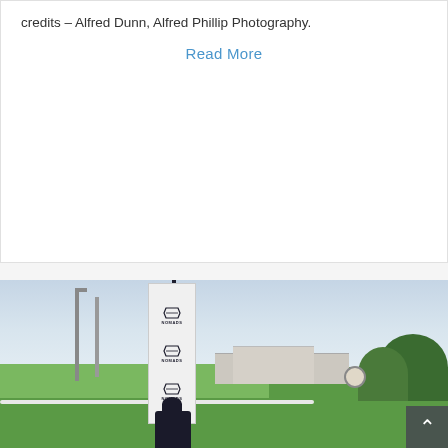credits – Alfred Dunn, Alfred Phillip Photography.
Read More
[Figure (photo): Outdoor golf course or driving range scene. A tall vertical banner/flag with 'NOMADS' branding and golf club logos repeating three times stands on a pole in the foreground. A person in dark clothing and cap stands at the base. Background shows green grass, white fence, buildings, trees, and a partly cloudy sky.]